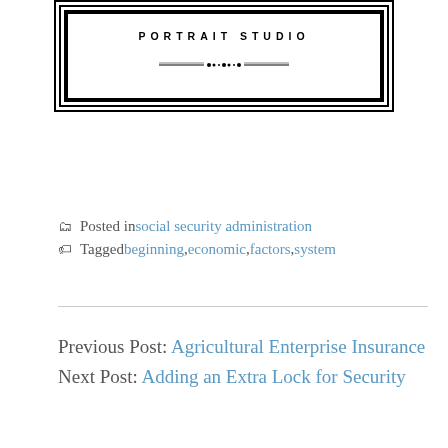[Figure (illustration): Portrait studio decorative frame with text 'PORTRAIT STUDIO' and ornamental divider line, rendered in black and white with nested border design]
Posted in social security administration
Tagged beginning, economic, factors, system
Previous Post: Agricultural Enterprise Insurance
Next Post: Adding an Extra Lock for Security